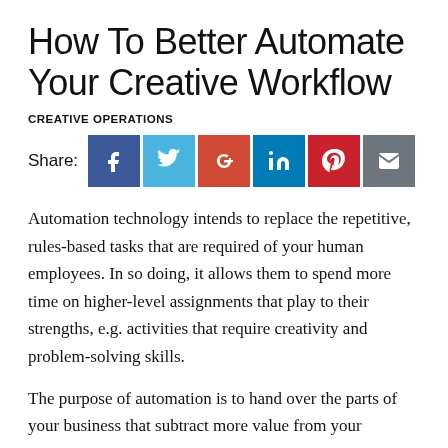How To Better Automate Your Creative Workflow
CREATIVE OPERATIONS
[Figure (infographic): Share buttons row: Facebook (blue), Twitter (light blue), Google+ (red), LinkedIn (dark blue), Pinterest (red), Email (grey)]
Automation technology intends to replace the repetitive, rules-based tasks that are required of your human employees. In so doing, it allows them to spend more time on higher-level assignments that play to their strengths, e.g. activities that require creativity and problem-solving skills.
The purpose of automation is to hand over the parts of your business that subtract more value from your